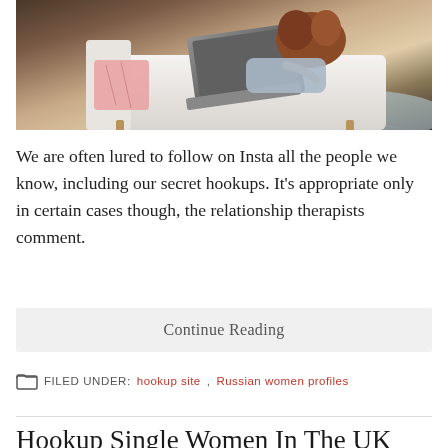[Figure (photo): Woman lying on a white sofa/couch working on a laptop, viewed from above, with a patterned pink pillow and patterned rug on wooden floor]
We are often lured to follow on Insta all the people we know, including our secret hookups. It's appropriate only in certain cases though, the relationship therapists comment.
Continue Reading
FILED UNDER: hookup site, Russian women profiles
Hookup Single Women In The UK